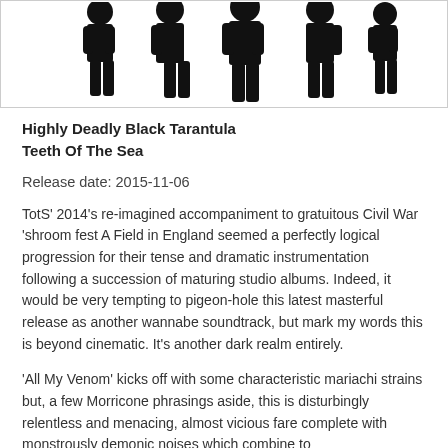[Figure (illustration): Black silhouettes of a group of people (band members) standing against a white background, cropped at the top]
Highly Deadly Black Tarantula
Teeth Of The Sea
Release date: 2015-11-06
TotS' 2014's re-imagined accompaniment to gratuitous Civil War 'shroom fest A Field in England seemed a perfectly logical progression for their tense and dramatic instrumentation following a succession of maturing studio albums. Indeed, it would be very tempting to pigeon-hole this latest masterful release as another wannabe soundtrack, but mark my words this is beyond cinematic. It's another dark realm entirely.
'All My Venom' kicks off with some characteristic mariachi strains but, a few Morricone phrasings aside, this is disturbingly relentless and menacing, almost vicious fare complete with monstrously demonic noises which combine to